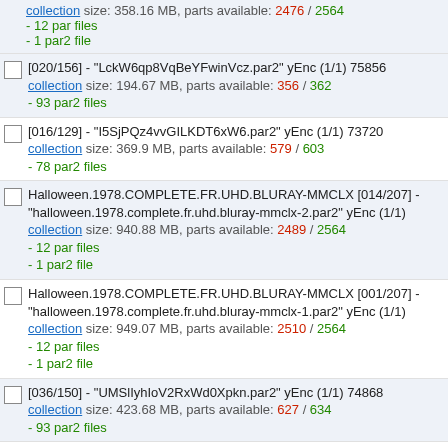collection size: 358.16 MB, parts available: 2476 / 2564
- 12 par files
- 1 par2 file
[020/156] - "LckW6qp8VqBeYFwinVcz.par2" yEnc (1/1) 75856
collection size: 194.67 MB, parts available: 356 / 362
- 93 par2 files
[016/129] - "I5SjPQz4vvGILKDT6xW6.par2" yEnc (1/1) 73720
collection size: 369.9 MB, parts available: 579 / 603
- 78 par2 files
Halloween.1978.COMPLETE.FR.UHD.BLURAY-MMCLX [014/207] - "halloween.1978.complete.fr.uhd.bluray-mmclx-2.par2" yEnc (1/1)
collection size: 940.88 MB, parts available: 2489 / 2564
- 12 par files
- 1 par2 file
Halloween.1978.COMPLETE.FR.UHD.BLURAY-MMCLX [001/207] - "halloween.1978.complete.fr.uhd.bluray-mmclx-1.par2" yEnc (1/1)
collection size: 949.07 MB, parts available: 2510 / 2564
- 12 par files
- 1 par2 file
[036/150] - "UMSlIyhIoV2RxWd0Xpkn.par2" yEnc (1/1) 74868
collection size: 423.68 MB, parts available: 627 / 634
- 93 par2 files
[062/242] - "br4xZaBCTHQ5W0iG0ypP.par2" yEnc (1/1) 82784
collection size: 648.88 MB, parts available: 1023 / 1055
- 153 par2 files
[058/198] - "hRh64WmDdbluvlD0K1Do.par2" yEnc (1/1) 82156
collection size: 256.37 MB, parts available: 441 / 451
- 114 par2 files
[01/15] - "BEAddA16434219674pqCv220129MRW.part1.rar" yEnc (1/3) 256000000
collection size: 1.62 GB, parts available: 2346 / 2419
- 8 par2 files
- 7 rar files